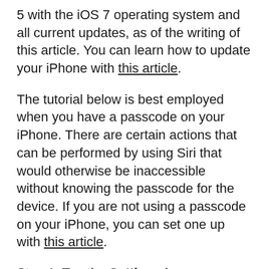5 with the iOS 7 operating system and all current updates, as of the writing of this article. You can learn how to update your iPhone with this article.
The tutorial below is best employed when you have a passcode on your iPhone. There are certain actions that can be performed by using Siri that would otherwise be inaccessible without knowing the passcode for the device. If you are not using a passcode on your iPhone, you can set one up with this article.
Step 1: Tap the Settings icon.